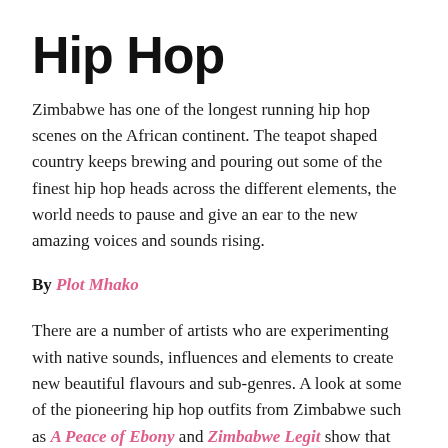Hip Hop
Zimbabwe has one of the longest running hip hop scenes on the African continent. The teapot shaped country keeps brewing and pouring out some of the finest hip hop heads across the different elements, the world needs to pause and give an ear to the new amazing voices and sounds rising.
By Plot Mhako
There are a number of artists who are experimenting with native sounds, influences and elements to create new beautiful flavours and sub-genres. A look at some of the pioneering hip hop outfits from Zimbabwe such as A Peace of Ebony and Zimbabwe Legit show that this trend has for long been embedded in the DNA of the local hip hop